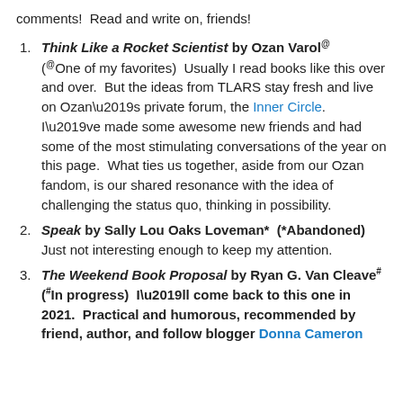comments!  Read and write on, friends!
Think Like a Rocket Scientist by Ozan Varol@ (@One of my favorites)  Usually I read books like this over and over.  But the ideas from TLARS stay fresh and live on Ozan’s private forum, the Inner Circle.  I’ve made some awesome new friends and had some of the most stimulating conversations of the year on this page.  What ties us together, aside from our Ozan fandom, is our shared resonance with the idea of challenging the status quo, thinking in possibility.
Speak by Sally Lou Oaks Loveman*  (*Abandoned)  Just not interesting enough to keep my attention.
The Weekend Book Proposal by Ryan G. Van Cleave#  (#In progress)  I’ll come back to this one in 2021.  Practical and humorous, recommended by friend, author, and follow blogger Donna Cameron